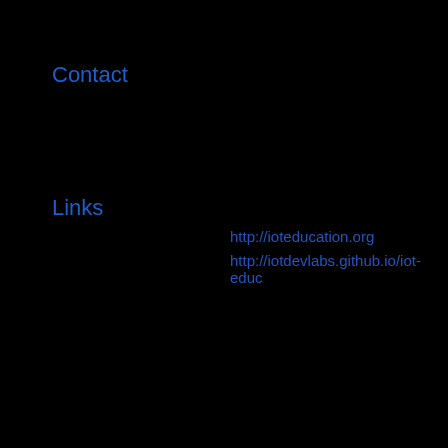Contact
Links
http://ioteducation.org
http://iotdevlabs.github.io/iot-educ